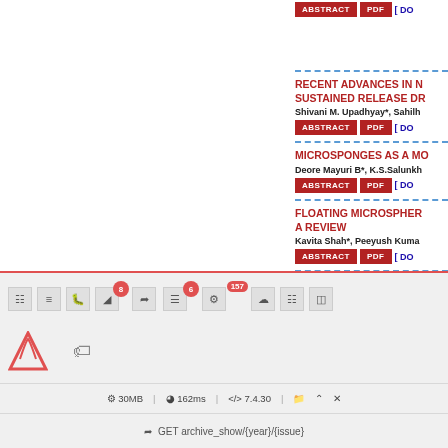RECENT ADVANCES IN ... SUSTAINED RELEASE DR...
Shivani M. Upadhyay*, Sahilh...
MICROSPONGES AS A MO...
Deore Mayuri B*, K.S.Salunkh...
FLOATING MICROSPHER... A REVIEW
Kavita Shah*, Peeyush Kuma...
[Figure (screenshot): Web application toolbar with icons, badges (8, 6, 157), Laravel logo, tag icon, status bar showing 30MB, 162ms, 7.4.30, and GET route archive_show/{year}/{issue}]